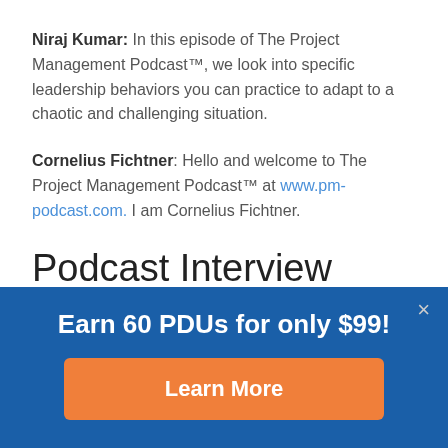Niraj Kumar: In this episode of The Project Management Podcast™, we look into specific leadership behaviors you can practice to adapt to a chaotic and challenging situation.
Cornelius Fichtner: Hello and welcome to The Project Management Podcast™ at www.pm-podcast.com. I am Cornelius Fichtner.
Podcast Interview
Cornelius Fichtner: [partially visible/cut off]
Earn 60 PDUs for only $99!
Learn More